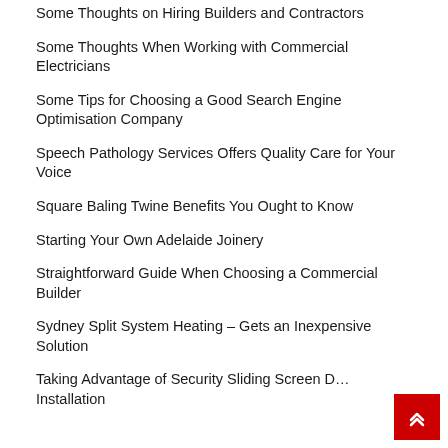Some Thoughts on Hiring Builders and Contractors
Some Thoughts When Working with Commercial Electricians
Some Tips for Choosing a Good Search Engine Optimisation Company
Speech Pathology Services Offers Quality Care for Your Voice
Square Baling Twine Benefits You Ought to Know
Starting Your Own Adelaide Joinery
Straightforward Guide When Choosing a Commercial Builder
Sydney Split System Heating – Gets an Inexpensive Solution
Taking Advantage of Security Sliding Screen Door Installation